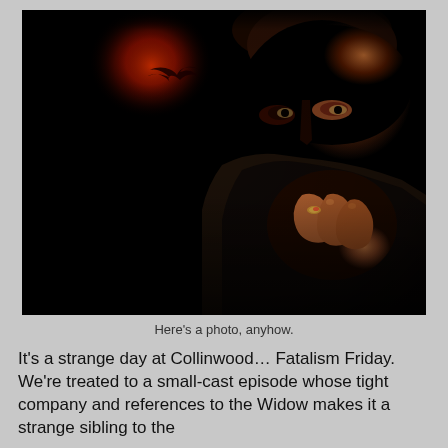[Figure (photo): A dramatic, dark portrait of a man pulling a dark turtleneck collar up to his nose, with his fist raised to his face. He has an intense, piercing gaze. The background features a deep red glowing circle against a black background, with a silhouette of a bird in flight visible in the red glow.]
Here's a photo, anyhow.
It's a strange day at Collinwood… Fatalism Friday. We're treated to a small-cast episode whose tight company and references to the Widow makes it a strange sibling to the